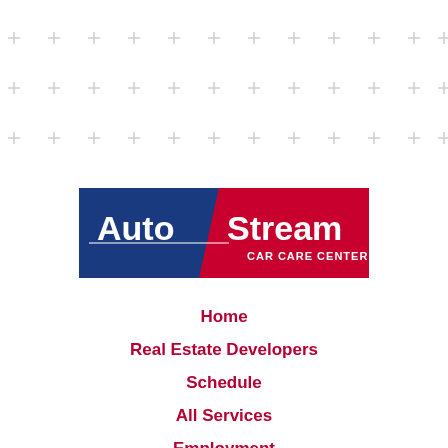[Figure (logo): AutoStream Car Care Center logo — blue and red banner with white text]
Home
Real Estate Developers
Schedule
All Services
Employment
Blog